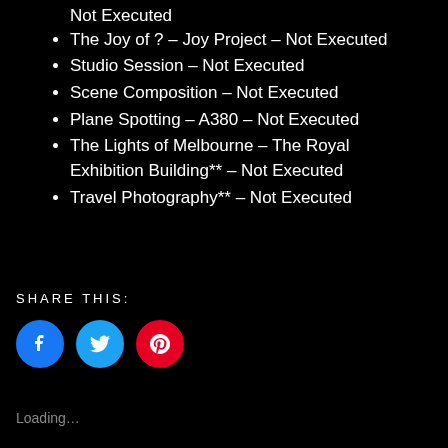Not Executed
The Joy of ? – Joy Project – Not Executed
Studio Session – Not Executed
Scene Composition – Not Executed
Plane Spotting – A380 – Not Executed
The Lights of Melbourne – The Royal Exhibition Building** – Not Executed
Travel Photography** – Not Executed
SHARE THIS:
[Figure (other): Social share icons: Facebook (blue circle), Twitter (light blue circle), Pinterest (red circle)]
Loading…